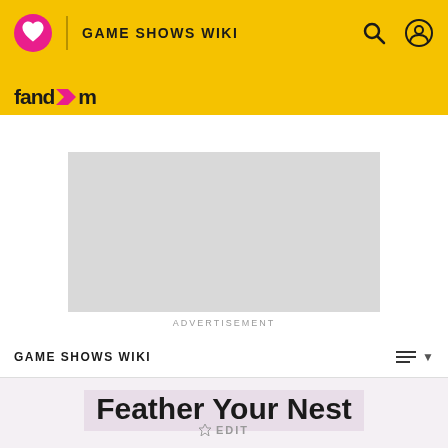GAME SHOWS WIKI
[Figure (screenshot): Advertisement placeholder (grey rectangle)]
ADVERTISEMENT
GAME SHOWS WIKI
Feather Your Nest
EDIT
| Host |
| --- |
| Bud Collyer |
| Bob Kennedy (sub) |